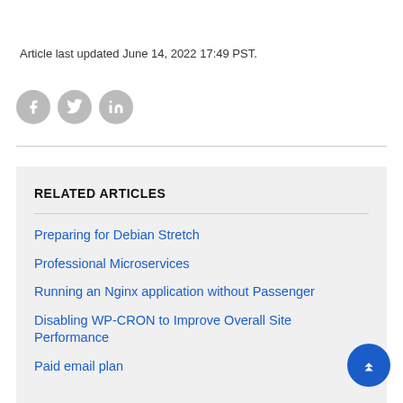Article last updated June 14, 2022 17:49 PST.
[Figure (illustration): Three social media icons: Facebook, Twitter, LinkedIn — grey circles with white logos]
RELATED ARTICLES
Preparing for Debian Stretch
Professional Microservices
Running an Nginx application without Passenger
Disabling WP-CRON to Improve Overall Site Performance
Paid email plan